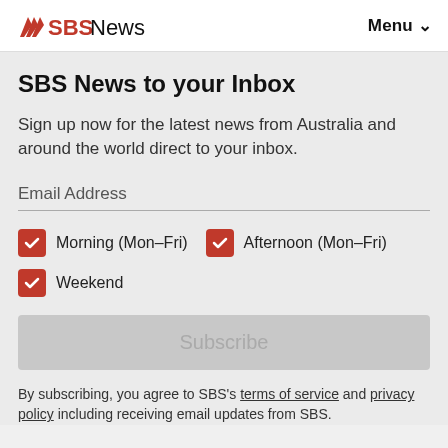SBS News   Menu ∨
SBS News to your Inbox
Sign up now for the latest news from Australia and around the world direct to your inbox.
Email Address
Morning (Mon–Fri)
Afternoon (Mon–Fri)
Weekend
Subscribe
By subscribing, you agree to SBS's terms of service and privacy policy including receiving email updates from SBS.